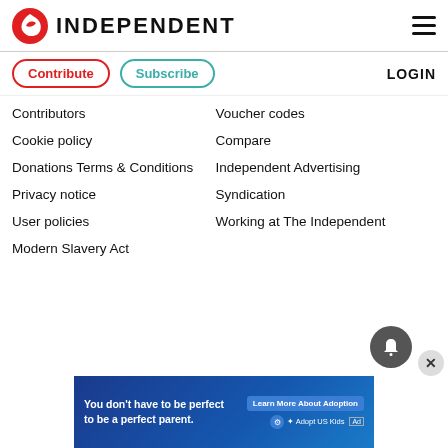INDEPENDENT
Contribute
Subscribe
LOGIN
Contributors
Cookie policy
Donations Terms & Conditions
Privacy notice
User policies
Modern Slavery Act
Voucher codes
Compare
Independent Advertising
Syndication
Working at The Independent
[Figure (screenshot): Advertisement banner: You don't have to be perfect to be a perfect parent. Learn More About Adoption. Adopt US Kids.]